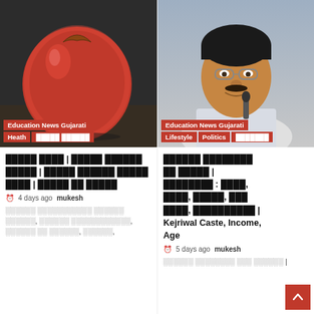[Figure (photo): Red apple on wooden surface — left column top image]
Education News Gujarati
Heath | [Gujarati text]
[Gujarati headline text about health topic]
4 days ago  mukesh
[Gujarati excerpt text]
[Figure (photo): Indian politician Arvind Kejriwal speaking at microphone — right column top image]
Education News Gujarati
Lifestyle | Politics | [Gujarati text]
[Gujarati headline] Kejriwal Caste, Income, Age
5 days ago  mukesh
[Gujarati excerpt text]